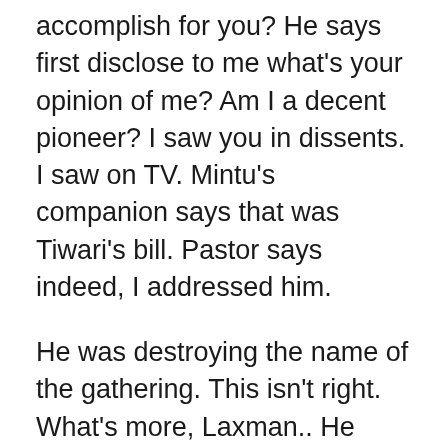accomplish for you? He says first disclose to me what's your opinion of me? Am I a decent pioneer? I saw you in dissents. I saw on TV. Mintu's companion says that was Tiwari's bill. Pastor says indeed, I addressed him.
He was destroying the name of the gathering. This isn't right. What's more, Laxman.. He conflicted with his gathering. Such an awful man. Give me a chance to demonstrate to you his video. The video has Laxman requesting that they do the dissents. He says you need to cut the administration down? Mintu says we are understudies. We work for any individual who is correct.
Minster says would yo work for us? Mintu says what would it be a good idea for me to do?